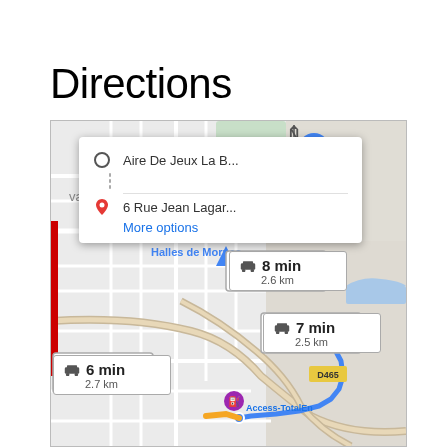Directions
[Figure (map): Google Maps screenshot showing directions from Aire De Jeux La B... to 6 Rue Jean Lagar..., with a popup showing origin and destination, and three route options: 8 min / 2.6 km, 7 min / 2.5 km, and 6 min / 2.7 km. Map features roads, D465 road sign, Access-TotalEn station, and blue route line.]